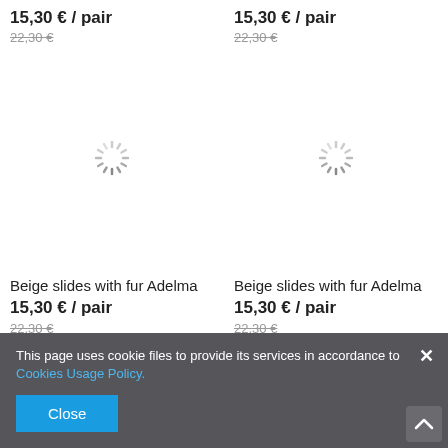15,30 € / pair (top-left price)
22,30 € (top-left old price)
15,30 € / pair (top-right price)
22,30 € (top-right old price)
[Figure (illustration): Loading spinner icon (left)]
[Figure (illustration): Loading spinner icon (right)]
Beige slides with fur Adelma
15,30 € / pair
22,30 €
Beige slides with fur Adelma
15,30 € / pair
22,30 €
This page uses cookie files to provide its services in accordance to Cookies Usage Policy.
Close